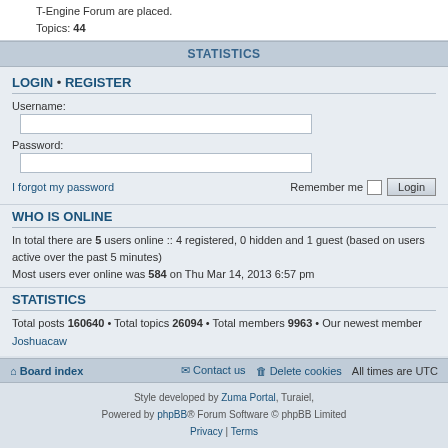T-Engine Forum are placed. Topics: 44
STATISTICS
LOGIN • REGISTER
Username:
Password:
I forgot my password   Remember me  Login
WHO IS ONLINE
In total there are 5 users online :: 4 registered, 0 hidden and 1 guest (based on users active over the past 5 minutes)
Most users ever online was 584 on Thu Mar 14, 2013 6:57 pm
STATISTICS
Total posts 160640 • Total topics 26094 • Total members 9963 • Our newest member Joshuacaw
Board index   Contact us   Delete cookies   All times are UTC
Style developed by Zuma Portal, Turaiel,
Powered by phpBB® Forum Software © phpBB Limited
Privacy | Terms